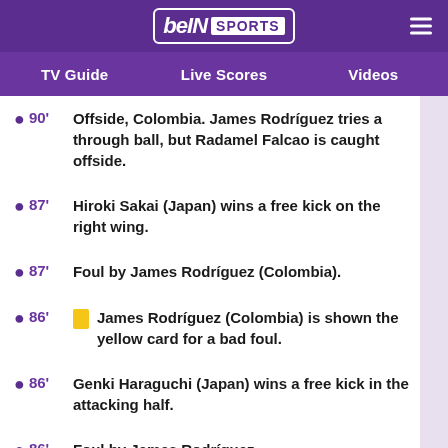[Figure (logo): beIN SPORTS logo in white on purple background with hamburger menu icon]
TV Guide   Live Scores   Videos
90' Offside, Colombia. James Rodríguez tries a through ball, but Radamel Falcao is caught offside.
87' Hiroki Sakai (Japan) wins a free kick on the right wing.
87' Foul by James Rodríguez (Colombia).
86' [yellow card] James Rodríguez (Colombia) is shown the yellow card for a bad foul.
86' Genki Haraguchi (Japan) wins a free kick in the attacking half.
86' Foul by James Rodríguez